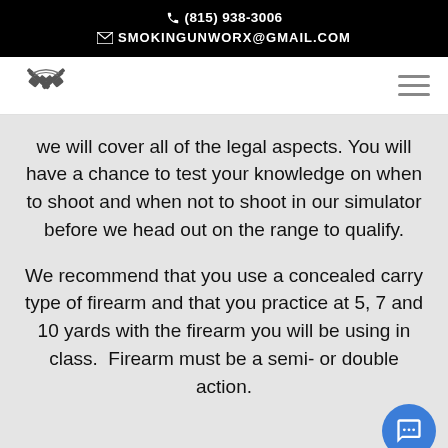(815) 938-3006
SMOKINGUNWORX@GMAIL.COM
[Figure (logo): Smoking Gun Worx logo with crossed pistols icon and hamburger menu icon on the right]
we will cover all of the legal aspects. You will have a chance to test your knowledge on when to shoot and when not to shoot in our simulator before we head out on the range to qualify.
We recommend that you use a concealed carry type of firearm and that you practice at 5, 7 and 10 yards with the firearm you will be using in class.  Firearm must be a semi- or double action.